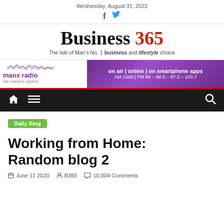Wednesday, August 31, 2022
Business 365 — The Isle of Man's No. 1 business and lifestyle choice
[Figure (advertisement): Manx Radio advertisement banner: on air | online | on smartphone apps, AM 1368 | FM 89 – 89.5 – 97.2 – 103.7]
[Figure (infographic): Navigation bar with home icon, menu icon, and search icon on dark background]
Daily Blog
Working from Home: Random blog 2
June 11 2020   B365   10,004 Comments